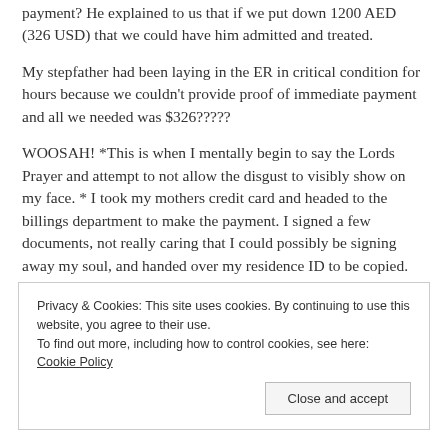payment? He explained to us that if we put down 1200 AED (326 USD) that we could have him admitted and treated.
My stepfather had been laying in the ER in critical condition for hours because we couldn't provide proof of immediate payment and all we needed was $326?????
WOOSAH! *This is when I mentally begin to say the Lords Prayer and attempt to not allow the disgust to visibly show on my face. * I took my mothers credit card and headed to the billings department to make the payment. I signed a few documents, not really caring that I could possibly be signing away my soul, and handed over my residence ID to be copied.
Privacy & Cookies: This site uses cookies. By continuing to use this website, you agree to their use.
To find out more, including how to control cookies, see here: Cookie Policy
Close and accept